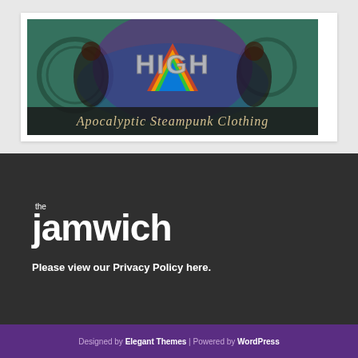[Figure (illustration): Apocalyptic Steampunk Clothing banner image with the word HIGH in metallic stylized font, two figures in steampunk clothing on either side, colorful psychedelic background with gears. Text reads 'Apocalyptic Steampunk Clothing'.]
[Figure (logo): The Jamwich logo in white on dark background, with 'the' in small text above 'jamwich' in large bold rounded font.]
Please view our Privacy Policy here.
Designed by Elegant Themes | Powered by WordPress